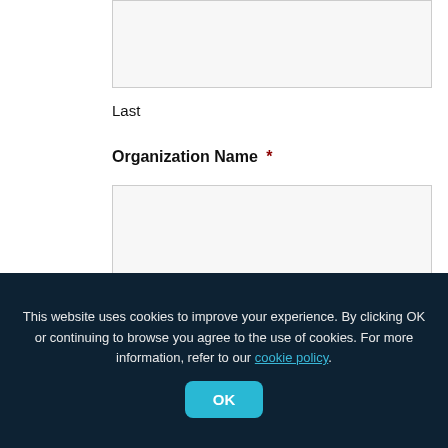Last
Organization Name *
Email *
This website uses cookies to improve your experience. By clicking OK or continuing to browse you agree to the use of cookies. For more information, refer to our cookie policy.